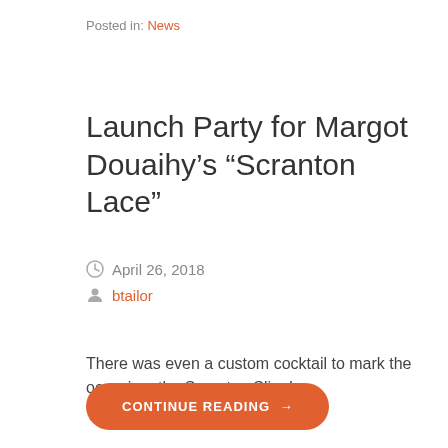Posted in: News
Launch Party for Margot Douaihy’s “Scranton Lace”
April 26, 2018
btailor
There was even a custom cocktail to mark the occasion: the Scranton Sling!
CONTINUE READING →